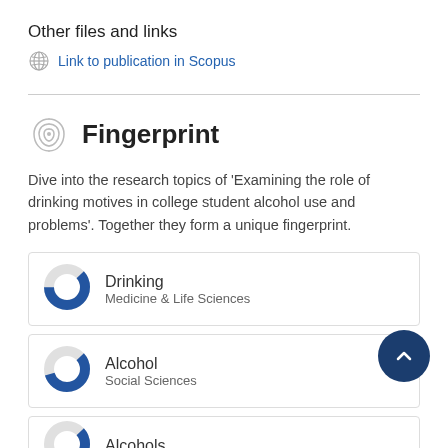Other files and links
Link to publication in Scopus
Fingerprint
Dive into the research topics of 'Examining the role of drinking motives in college student alcohol use and problems'. Together they form a unique fingerprint.
Drinking
Medicine & Life Sciences
Alcohol
Social Sciences
Alcohols